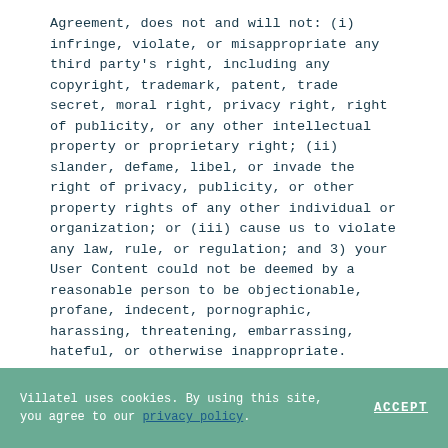Agreement, does not and will not: (i) infringe, violate, or misappropriate any third party's right, including any copyright, trademark, patent, trade secret, moral right, privacy right, right of publicity, or any other intellectual property or proprietary right; (ii) slander, defame, libel, or invade the right of privacy, publicity, or other property rights of any other individual or organization; or (iii) cause us to violate any law, rule, or regulation; and 3) your User Content could not be deemed by a reasonable person to be objectionable, profane, indecent, pornographic, harassing, threatening, embarrassing, hateful, or otherwise inappropriate.
Villatel uses cookies. By using this site, you agree to our privacy policy. ACCEPT